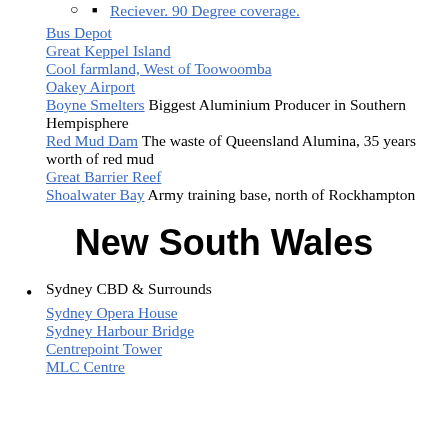Reciever. 90 Degree coverage.
Bus Depot
Great Keppel Island
Cool farmland, West of Toowoomba
Oakey Airport
Boyne Smelters Biggest Aluminium Producer in Southern Hempisphere
Red Mud Dam The waste of Queensland Alumina, 35 years worth of red mud
Great Barrier Reef
Shoalwater Bay Army training base, north of Rockhampton
New South Wales
Sydney CBD & Surrounds
Sydney Opera House
Sydney Harbour Bridge
Centrepoint Tower
MLC Centre